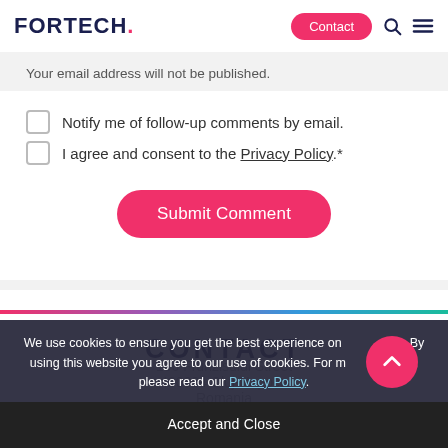FORTECH. Contact
Your email address will not be published.
Notify me of follow-up comments by email.
I agree and consent to the Privacy Policy.*
Submit Comment
CONTACT
106 Frunzisului Street
400664 Cluj-Napoca
Romania
We use cookies to ensure you get the best experience on our site. By using this website you agree to our use of cookies. For more information, please read our Privacy Policy.
Accept and Close